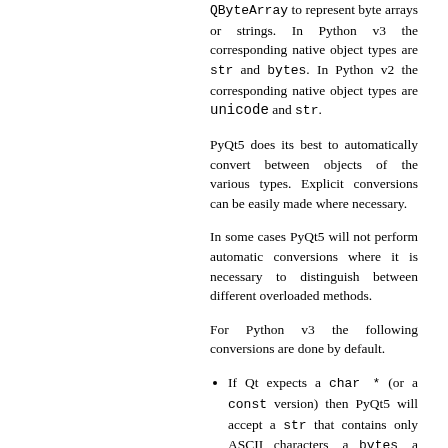QByteArray to represent byte arrays or strings. In Python v3 the corresponding native object types are str and bytes. In Python v2 the corresponding native object types are unicode and str.
PyQt5 does its best to automatically convert between objects of the various types. Explicit conversions can be easily made where necessary.
In some cases PyQt5 will not perform automatic conversions where it is necessary to distinguish between different overloaded methods.
For Python v3 the following conversions are done by default.
If Qt expects a char * (or a const version) then PyQt5 will accept a str that contains only ASCII characters, a bytes, a QByteArray, or a Python object that implements the buffer protocol.
If Qt expects a char (or a